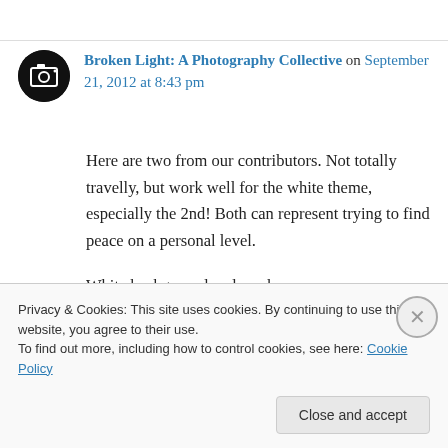[Figure (logo): Broken Light Photography Collective circular logo — dark circle with camera viewfinder icon]
Broken Light: A Photography Collective on September 21, 2012 at 8:43 pm
Here are two from our contributors. Not totally travelly, but work well for the white theme, especially the 2nd! Both can represent trying to find peace on a personal level.

White background and mask:

http://brokenlightcollective.wordpress.com/2012/
Privacy & Cookies: This site uses cookies. By continuing to use this website, you agree to their use.
To find out more, including how to control cookies, see here: Cookie Policy